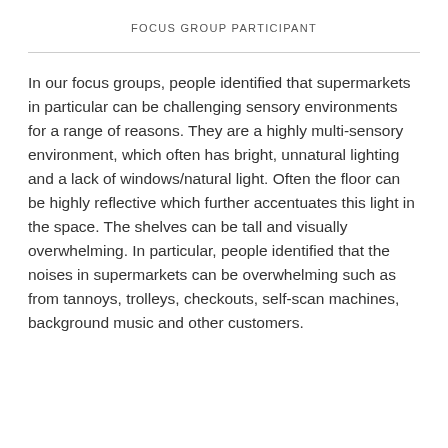FOCUS GROUP PARTICIPANT
In our focus groups, people identified that supermarkets in particular can be challenging sensory environments for a range of reasons. They are a highly multi-sensory environment, which often has bright, unnatural lighting and a lack of windows/natural light. Often the floor can be highly reflective which further accentuates this light in the space. The shelves can be tall and visually overwhelming. In particular, people identified that the noises in supermarkets can be overwhelming such as from tannoys, trolleys, checkouts, self-scan machines, background music and other customers.